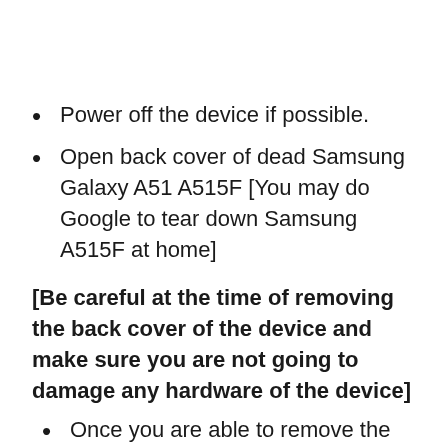Power off the device if possible.
Open back cover of dead Samsung Galaxy A51 A515F [You may do Google to tear down Samsung A515F at home]
[Be careful at the time of removing the back cover of the device and make sure you are not going to damage any hardware of the device]
Once you are able to remove the back cover, disconnect the battery connector first. Battery not required for download mode.